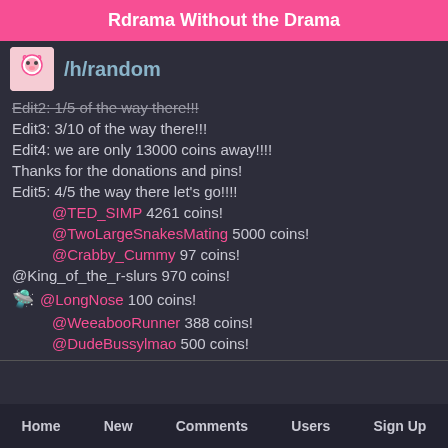Rdrama Without the Drama
/h/random
Edit2: 1/5 of the way there!!!
Edit3: 3/10 of the way there!!!
Edit4: we are only 13000 coins away!!!!
Thanks for the donations and pins!
Edit5: 4/5 the way there let's go!!!!
@TED_SIMP 4261 coins!
@TwoLargeSnakesMating 5000 coins!
@Crabby_Cummy 97 coins!
@King_of_the_r-slurs 970 coins!
@LongNose 100 coins!
@WeeabooRunner 388 coins!
@DudeBussylmao 500 coins!
Home   New   Comments   Users   Sign Up